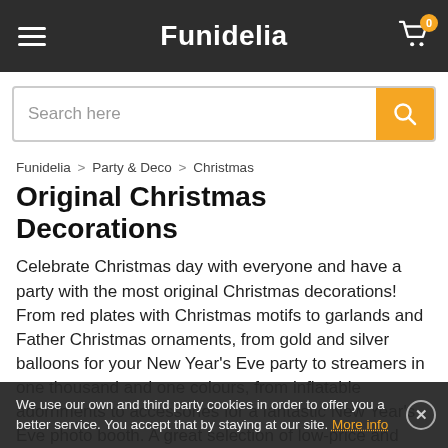Funidelia
Search here
Funidelia > Party & Deco > Christmas
Original Christmas Decorations
Celebrate Christmas day with everyone and have a party with the most original Christmas decorations! From red plates with Christmas motifs to garlands and Father Christmas ornaments, from gold and silver balloons for your New Year's Eve party to streamers in one thousand and one colours, from inflatable adornments to accessories for a fantastic New Year's Eve photo booth. A great selection of low-price and economic Christmas decorations! Decorate the walls with snow capped garlands, Christmas tree posters or incredible window sticker... all the Christmas outfits and the most original New Year's Eve party
We use our own and third party cookies in order to offer you a better service. You accept that by staying at our site. More info